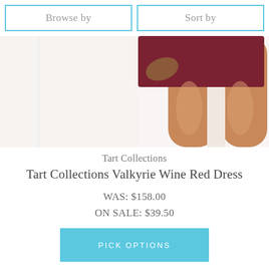Browse by
Sort by
[Figure (photo): Partial view of a model wearing a wine red mini dress, showing legs and lower torso against a white background]
Tart Collections
Tart Collections Valkyrie Wine Red Dress
WAS: $158.00
ON SALE: $39.50
PICK OPTIONS